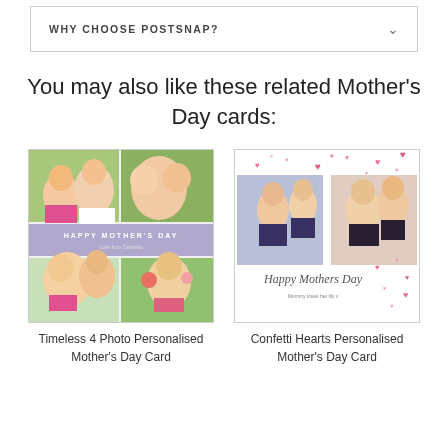WHY CHOOSE POSTSNAP?
You may also like these related Mother's Day cards:
[Figure (photo): Timeless 4 Photo Personalised Mother's Day Card product image showing four family photos arranged in a grid with 'HAPPY MOTHER'S DAY' text banner]
Timeless 4 Photo Personalised Mother's Day Card
[Figure (photo): Confetti Hearts Personalised Mother's Day Card product image showing two photos of mothers and children with pink confetti hearts and 'Happy Mothers Day' script text]
Confetti Hearts Personalised Mother's Day Card